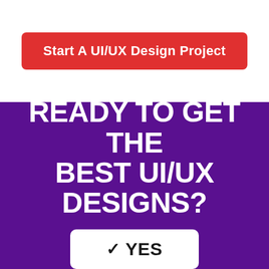Start A UI/UX Design Project
READY TO GET THE BEST UI/UX DESIGNS?
✓ YES